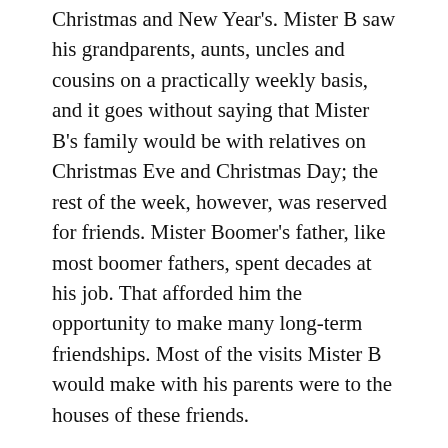Christmas and New Year's. Mister B saw his grandparents, aunts, uncles and cousins on a practically weekly basis, and it goes without saying that Mister B's family would be with relatives on Christmas Eve and Christmas Day; the rest of the week, however, was reserved for friends. Mister Boomer's father, like most boomer fathers, spent decades at his job. That afforded him the opportunity to make many long-term friendships. Most of the visits Mister B would make with his parents were to the houses of these friends.
Often these people had boomer kids of their own, and Mister B and his siblings met some of them at his father's annual company picnics. Nevertheless, some with an interest in a broader social life met with great interest